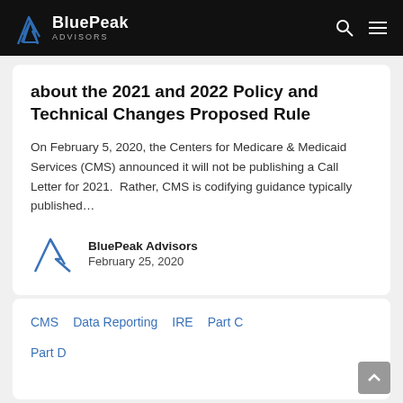BluePeak Advisors
about the 2021 and 2022 Policy and Technical Changes Proposed Rule
On February 5, 2020, the Centers for Medicare & Medicaid Services (CMS) announced it will not be publishing a Call Letter for 2021.  Rather, CMS is codifying guidance typically published…
BluePeak Advisors
February 25, 2020
CMS   Data Reporting   IRE   Part C

Part D